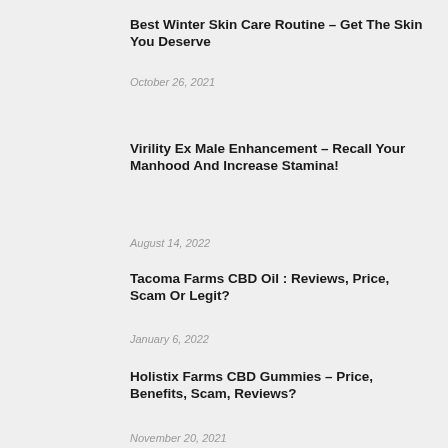Best Winter Skin Care Routine – Get The Skin You Deserve
October 26, 2021
Virility Ex Male Enhancement – Recall Your Manhood And Increase Stamina!
August 14, 2022
Tacoma Farms CBD Oil : Reviews, Price, Scam Or Legit?
January 6, 2022
Holistix Farms CBD Gummies – Price, Benefits, Scam, Reviews?
November 20, 2021
Express Keto Pills Reviews |